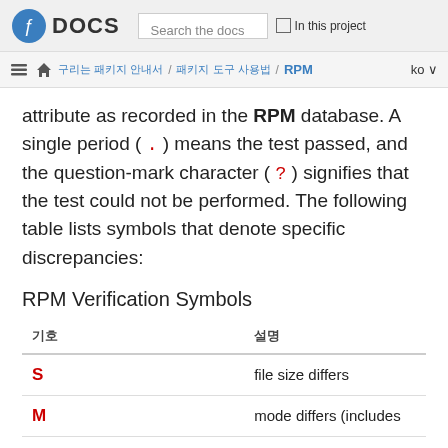DOCS | Search the docs | In this project
홈 / 패키지 관리 안내서 / 패키지 도구 사용법 / RPM  ko
attribute as recorded in the RPM database. A single period ( . ) means the test passed, and the question-mark character ( ? ) signifies that the test could not be performed. The following table lists symbols that denote specific discrepancies:
RPM Verification Symbols
| 기호 | 설명 |
| --- | --- |
| S | file size differs |
| M | mode differs (includes |